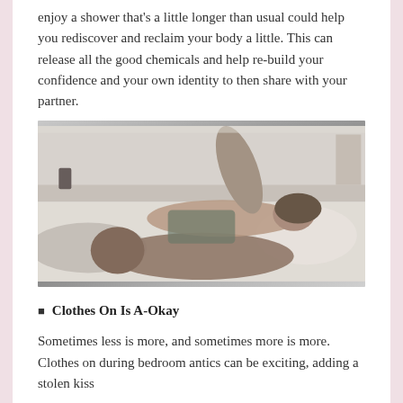enjoy a shower that’s a little longer than usual could help you rediscover and reclaim your body a little. This can release all the good chemicals and help re-build your confidence and your own identity to then share with your partner.
[Figure (photo): A couple lying on a bed together in an intimate embrace, photographed in a light-toned bedroom setting.]
Clothes On Is A-Okay
Sometimes less is more, and sometimes more is more. Clothes on during bedroom antics can be exciting, adding a stolen kiss